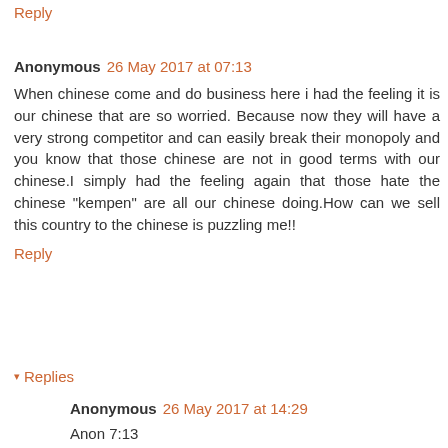Reply
Anonymous 26 May 2017 at 07:13
When chinese come and do business here i had the feeling it is our chinese that are so worried. Because now they will have a very strong competitor and can easily break their monopoly and you know that those chinese are not in good terms with our chinese.I simply had the feeling again that those hate the chinese "kempen" are all our chinese doing.How can we sell this country to the chinese is puzzling me!!
Reply
Replies
Anonymous 26 May 2017 at 14:29
Anon 7:13
1949 was the watershed year. The Communists took China and the Kuomintang left for Taiwan.